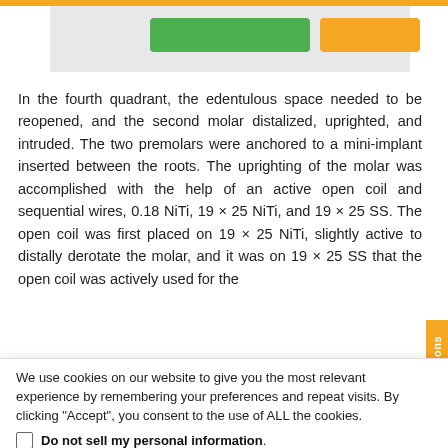[Figure (screenshot): Top portion of a webpage showing a light gray content box with a green button and orange button/bar, topped with an orange navigation bar.]
In the fourth quadrant, the edentulous space needed to be reopened, and the second molar distalized, uprighted, and intruded. The two premolars were anchored to a mini-implant inserted between the roots. The uprighting of the molar was accomplished with the help of an active open coil and sequential wires, 0.18 NiTi, 19 × 25 NiTi, and 19 × 25 SS. The open coil was first placed on 19 × 25 NiTi, slightly active to distally derotate the molar, and it was on 19 × 25 SS that the open coil was actively used for the
We use cookies on our website to give you the most relevant experience by remembering your preferences and repeat visits. By clicking "Accept", you consent to the use of ALL the cookies.
Do not sell my personal information.
Cookie Settings  Accept